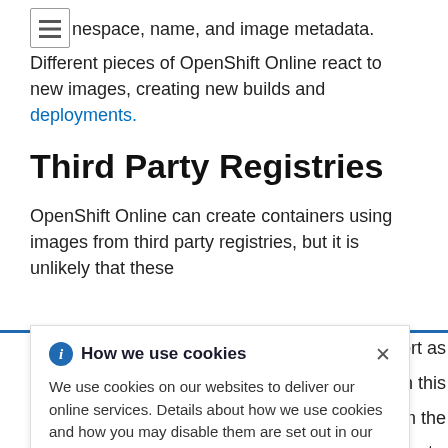passing along all the information about it, such as the namespace, name, and image metadata. Different pieces of OpenShift Online react to new images, creating new builds and deployments.
Third Party Registries
OpenShift Online can create containers using images from third party registries, but it is unlikely that these n support as n this from the n. Refreshing c import- etected, the nt reactions occur.
[Figure (screenshot): Cookie consent banner overlay reading: 'How we use cookies' with info icon and close X. Body text: 'We use cookies on our websites to deliver our online services. Details about how we use cookies and how you may disable them are set out in our Privacy Statement. By using this website you agree to our use of cookies.']